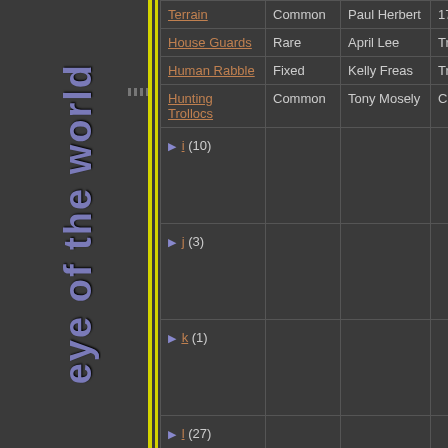[Figure (other): Vertical sidebar with 'eye of the world' text rotated, with yellow accent lines]
| Name | Rarity | Artist | Type | Expansion |
| --- | --- | --- | --- | --- |
| Terrain | Common | Paul Herbert | 17/m |  |
| House Guards | Rare | April Lee | Troop | Cairhien |
| Human Rabble | Fixed | Kelly Freas | Troop | Mercena... |
| Hunting Trollocs | Common | Tony Mosely | Challenge |  |
| ▶ i (10) |  |  |  |  |
| ▶ j (3) |  |  |  |  |
| ▶ k (1) |  |  |  |  |
| ▶ l (27) |  |  |  |  |
| ▶ m (10) |  |  |  |  |